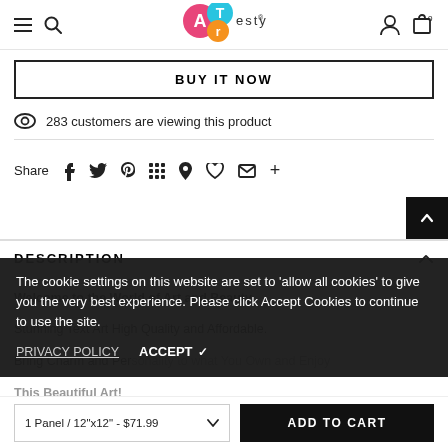ARTesty (logo) — navigation header with hamburger, search, user, cart icons
BUY IT NOW
283 customers are viewing this product
Share (social icons: Facebook, Twitter, Pinterest, Grid, Location, Heart, Email, Plus)
DESCRIPTION
Welcome to the World of Art and Beauty. Stunning Text Art High Quality and Affordable. Bring Charm and Personality to what You Own and Enjoy This Beautiful Art!
The cookie settings on this website are set to 'allow all cookies' to give you the very best experience. Please click Accept Cookies to continue to use the site.
PRIVACY POLICY   ACCEPT ✔
1 Panel / 12"x12" - $71.99   ADD TO CART